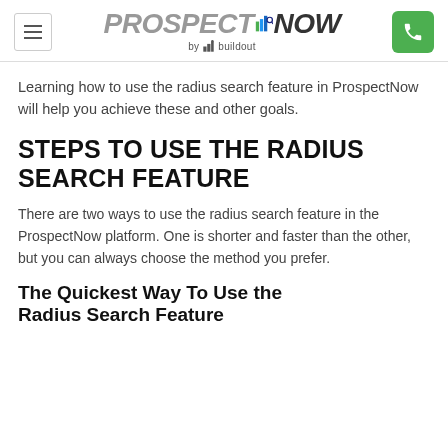PROSPECTNOW by buildout
Learning how to use the radius search feature in ProspectNow will help you achieve these and other goals.
STEPS TO USE THE RADIUS SEARCH FEATURE
There are two ways to use the radius search feature in the ProspectNow platform. One is shorter and faster than the other, but you can always choose the method you prefer.
The Quickest Way To Use the Radius Search Feature